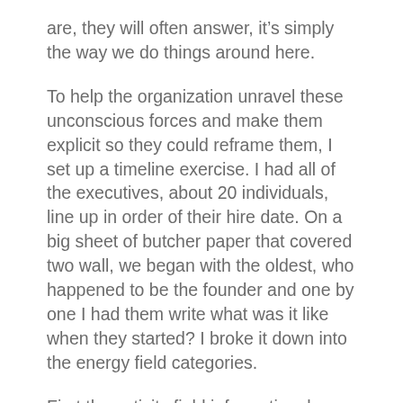are, they will often answer, it's simply the way we do things around here.
To help the organization unravel these unconscious forces and make them explicit so they could reframe them, I set up a timeline exercise. I had all of the executives, about 20 individuals, line up in order of their hire date. On a big sheet of butcher paper that covered two wall, we began with the oldest, who happened to be the founder and one by one I had them write what was it like when they started? I broke it down into the energy field categories.
First the activity field information: how many employees, how much revenue,